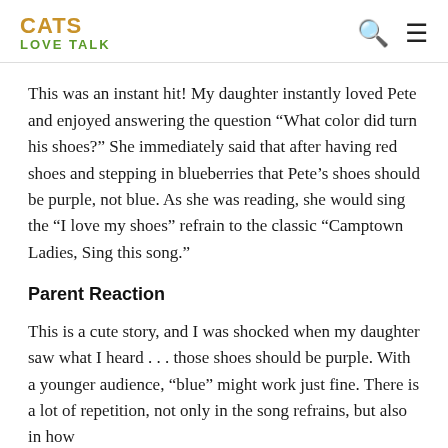CATS LOVE TALK
This was an instant hit! My daughter instantly loved Pete and enjoyed answering the question “What color did turn his shoes?” She immediately said that after having red shoes and stepping in blueberries that Pete’s shoes should be purple, not blue. As she was reading, she would sing the “I love my shoes” refrain to the classic “Camptown Ladies, Sing this song.”
Parent Reaction
This is a cute story, and I was shocked when my daughter saw what I heard . . . those shoes should be purple. With a younger audience, “blue” might work just fine. There is a lot of repetition, not only in the song refrains, but also in how the questions are asked, making it easy to read aloud.